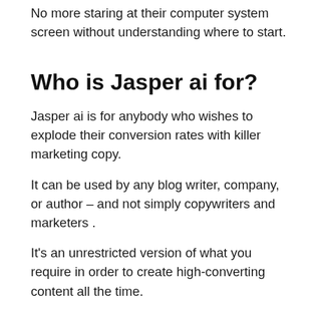No more staring at their computer system screen without understanding where to start.
Who is Jasper ai for?
Jasper ai is for anybody who wishes to explode their conversion rates with killer marketing copy.
It can be used by any blog writer, company, or author – and not simply copywriters and marketers .
It's an unrestricted version of what you require in order to create high-converting content all the time.
Let's have a look at individuals Jasper.ai is ideal